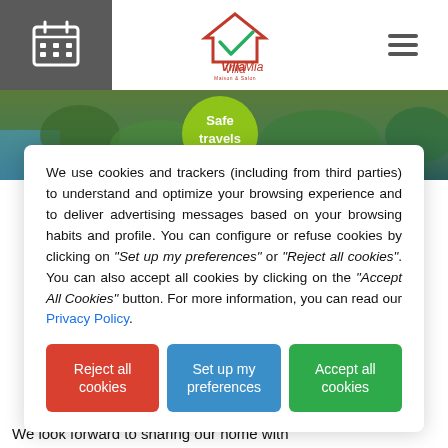[Figure (screenshot): Website header with calendar icon on left (dark grey background), Villa Mia logo in center, hamburger menu on right]
[Figure (photo): Background photo strip showing a tropical garden with a green Safe travels badge/circle visible]
We use cookies and trackers (including from third parties) to understand and optimize your browsing experience and to deliver advertising messages based on your browsing habits and profile. You can configure or refuse cookies by clicking on "Set up my preferences" or "Reject all cookies". You can also accept all cookies by clicking on the "Accept All Cookies" button. For more information, you can read our Privacy Policy.
We look forward to sharing our home with